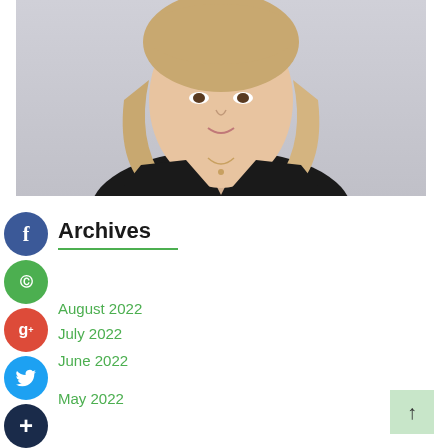[Figure (photo): Professional headshot of a woman with blonde shoulder-length hair, wearing a black V-neck top with a small pendant necklace, smiling, against a light grey background.]
[Figure (infographic): Social media share icons column: Facebook (blue), Google (green), Google+ (red), Twitter (blue), Add/Plus (dark navy). Displayed vertically on the left side.]
Archives
August 2022
July 2022
June 2022
May 2022